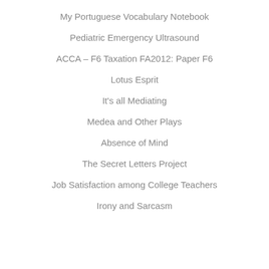My Portuguese Vocabulary Notebook
Pediatric Emergency Ultrasound
ACCA – F6 Taxation FA2012: Paper F6
Lotus Esprit
It's all Mediating
Medea and Other Plays
Absence of Mind
The Secret Letters Project
Job Satisfaction among College Teachers
Irony and Sarcasm